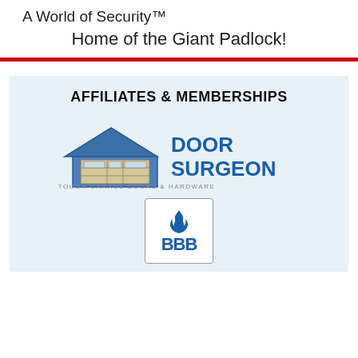A World of Security™
Home of the Giant Padlock!
AFFILIATES & MEMBERSHIPS
[Figure (logo): Door Surgeon logo — house/garage door icon with 'DOOR SURGEON' text and tagline 'TESTED TOUGH GARAGE DOORS & HARDWARE']
[Figure (logo): BBB (Better Business Bureau) logo — flame icon above BBB letters in a rounded rectangle border]